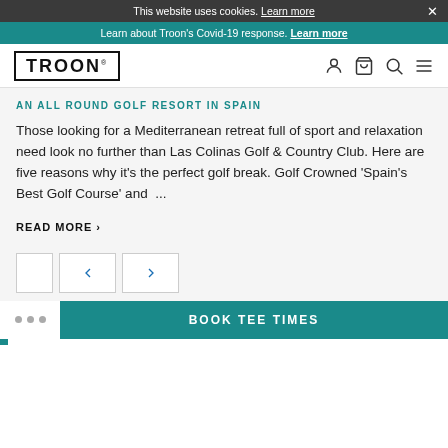This website uses cookies. Learn more ×
Learn about Troon's Covid-19 response. Learn more
TROON® [navigation icons]
AN ALL ROUND GOLF RESORT IN SPAIN
Those looking for a Mediterranean retreat full of sport and relaxation need look no further than Las Colinas Golf & Country Club. Here are five reasons why it's the perfect golf break. Golf Crowned 'Spain's Best Golf Course' and …
READ MORE ›
[Figure (screenshot): Pagination controls with left and right arrow buttons]
BOOK TEE TIMES